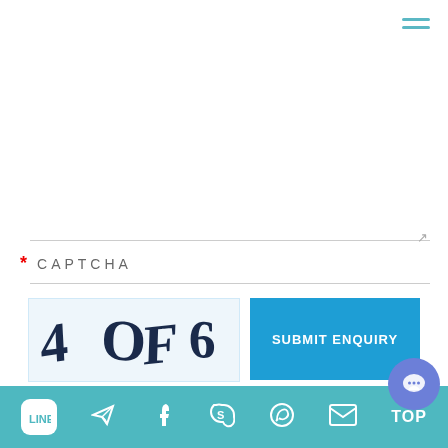[Figure (screenshot): Hamburger menu icon with three teal horizontal lines in top-right corner]
* CAPTCHA
[Figure (other): CAPTCHA image showing distorted text '4O F6' in dark letters on light blue background]
SUBMIT ENQUIRY
Related Information
Cryolipolysis Vacuum Machine
[Figure (other): Bottom navigation bar with LINE, Telegram, Facebook, Skype, WhatsApp, Email icons and TOP button on teal background]